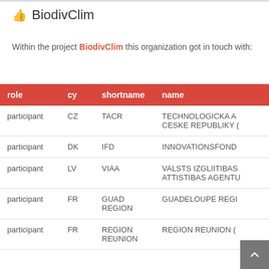BiodivClim
Within the project BiodivClim this organization got in touch with:
| role | cy | shortname | name |
| --- | --- | --- | --- |
| participant | CZ | TACR | TECHNOLOGICKA AGENTURA CESKE REPUBLIKY (...) |
| participant | DK | IFD | INNOVATIONSFONDEN... |
| participant | LV | VIAA | VALSTS IZGLIIBAS ATTISTIBAS AGENTU... |
| participant | FR | GUAD REGION | GUADELOUPE REGION... |
| participant | FR | REGION REUNION | REGION REUNION (...) |